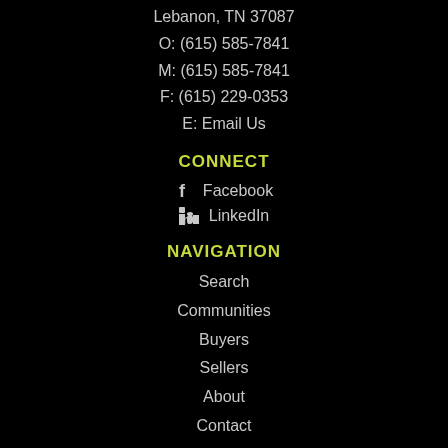Lebanon, TN 37087
O: (615) 585-7841
M: (615) 585-7841
F: (615) 229-0353
E: Email Us
CONNECT
Facebook
LinkedIn
NAVIGATION
Search
Communities
Buyers
Sellers
About
Contact